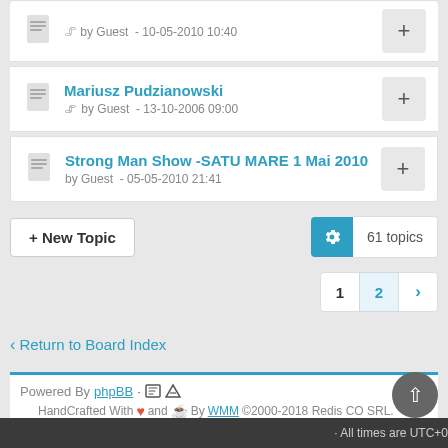Mariusz Pudzianowski by Guest - 13-10-2006 09:00
Strong Man Show -SATU MARE 1 Mai 2010 by Guest - 05-05-2010 21:41
+ New Topic
61 topics
1 2 >
< Return to Board Index
Powered By phpBB · HandCrafted With ♥ and ☕ By WMM ©2000-2018 Redis CO SRL. · All times are UTC+0